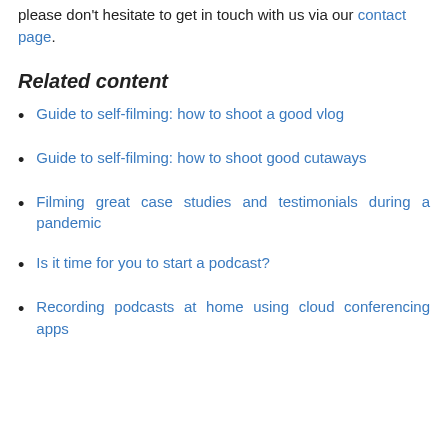please don't hesitate to get in touch with us via our contact page.
Related content
Guide to self-filming: how to shoot a good vlog
Guide to self-filming: how to shoot good cutaways
Filming great case studies and testimonials during a pandemic
Is it time for you to start a podcast?
Recording podcasts at home using cloud conferencing apps